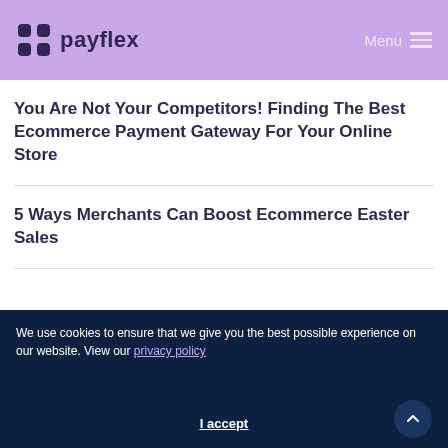payflex — Menu
You Are Not Your Competitors! Finding The Best Ecommerce Payment Gateway For Your Online Store
5 Ways Merchants Can Boost Ecommerce Easter Sales
[Figure (logo): Payflex logo in footer — purple butterfly/hourglass icon with 'payflex' text]
We use cookies to ensure that we give you the best possible experience on our website. View our privacy policy
I accept